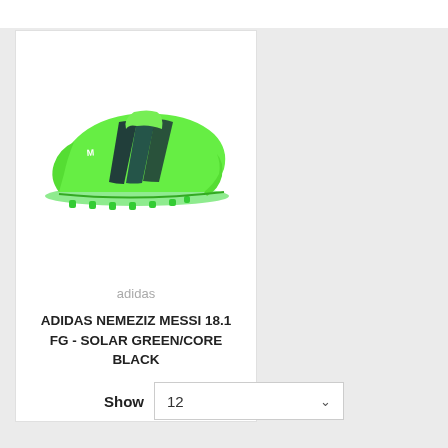[Figure (photo): Adidas Nemeziz Messi 18.1 FG soccer cleat in solar green with core black stripes, shown from the side on a white background]
adidas
ADIDAS NEMEZIZ MESSI 18.1 FG - SOLAR GREEN/CORE BLACK
Show 12